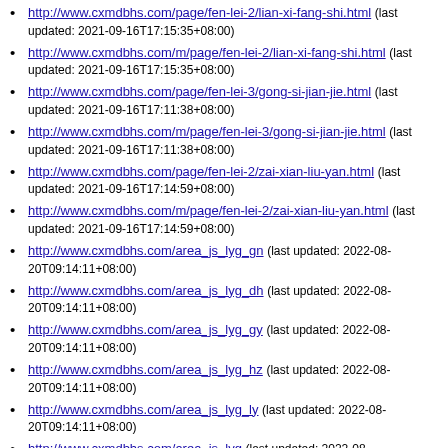http://www.cxmdbhs.com/page/fen-lei-2/lian-xi-fang-shi.html (last updated: 2021-09-16T17:15:35+08:00)
http://www.cxmdbhs.com/m/page/fen-lei-2/lian-xi-fang-shi.html (last updated: 2021-09-16T17:15:35+08:00)
http://www.cxmdbhs.com/page/fen-lei-3/gong-si-jian-jie.html (last updated: 2021-09-16T17:11:38+08:00)
http://www.cxmdbhs.com/m/page/fen-lei-3/gong-si-jian-jie.html (last updated: 2021-09-16T17:11:38+08:00)
http://www.cxmdbhs.com/page/fen-lei-2/zai-xian-liu-yan.html (last updated: 2021-09-16T17:14:59+08:00)
http://www.cxmdbhs.com/m/page/fen-lei-2/zai-xian-liu-yan.html (last updated: 2021-09-16T17:14:59+08:00)
http://www.cxmdbhs.com/area_js_lyg_gn (last updated: 2022-08-20T09:14:11+08:00)
http://www.cxmdbhs.com/area_js_lyg_dh (last updated: 2022-08-20T09:14:11+08:00)
http://www.cxmdbhs.com/area_js_lyg_gy (last updated: 2022-08-20T09:14:11+08:00)
http://www.cxmdbhs.com/area_js_lyg_hz (last updated: 2022-08-20T09:14:11+08:00)
http://www.cxmdbhs.com/area_js_lyg_ly (last updated: 2022-08-20T09:14:11+08:00)
http://www.cxmdbhs.com/area_js_lyg (last updated: 2022-08-20T09:14:11+08:00)